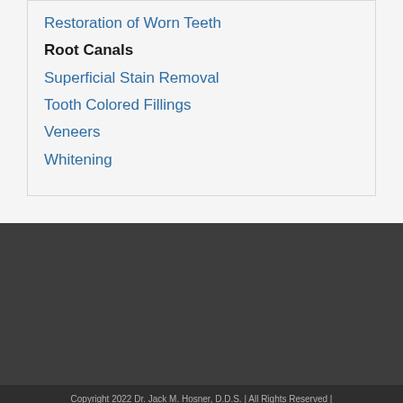Restoration of Worn Teeth
Root Canals
Superficial Stain Removal
Tooth Colored Fillings
Veneers
Whitening
Copyright 2022 Dr. Jack M. Hosner, D.D.S. | All Rights Reserved |